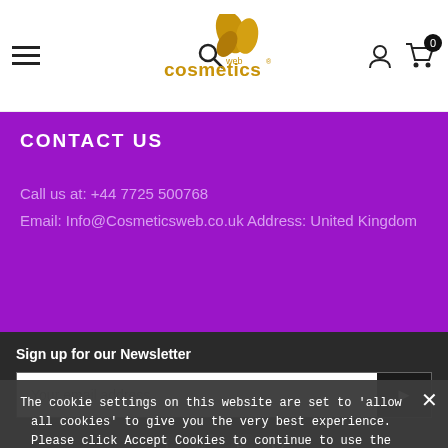[Figure (logo): Cosmetics Web logo with golden butterfly/leaf design and text 'cosmeticsweb']
CONTACT US
Call us at: +44 7725 500768
Email: Info@Cosmeticsweb.co.uk Address: United Kingdom
Sign up for our Newsletter
Your email address
The cookie settings on this website are set to 'allow all cookies' to give you the very best experience. Please click Accept Cookies to continue to use the site.
ACCEPT COOKIES
PRIVACY POLICY
©2021 Cosmetics Web. All Rights Reserved.